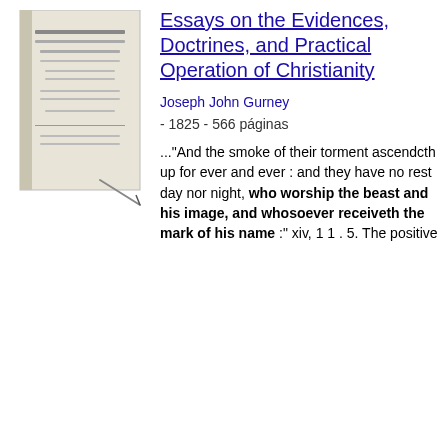[Figure (illustration): Thumbnail image of a book cover for 'Essays on the Evidences, Doctrines, and Practical Operation of Christianity']
Essays on the Evidences, Doctrines, and Practical Operation of Christianity
Joseph John Gurney - 1825 - 566 páginas
..."And the smoke of their torment ascendcth up for ever and ever : and they have no rest day nor night, who worship the beast and his image, and whosoever receiveth the mark of his name :" xiv, 1 1 . 5. The positive